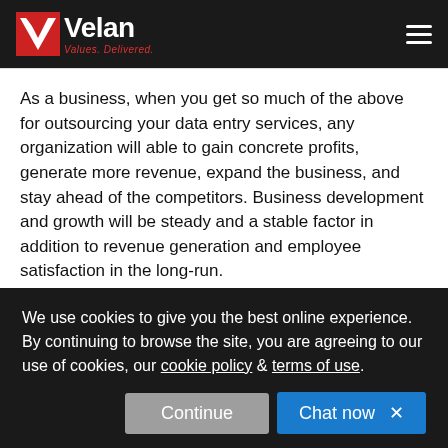Velan — Values. Delivered.
As a business, when you get so much of the above for outsourcing your data entry services, any organization will able to gain concrete profits, generate more revenue, expand the business, and stay ahead of the competitors. Business development and growth will be steady and a stable factor in addition to revenue generation and employee satisfaction in the long-run.
Partner With Velan For Organized Data Entry Services
We use cookies to give you the best online experience. By continuing to browse the site, you are agreeing to our use of cookies, our cookie policy & terms of use.